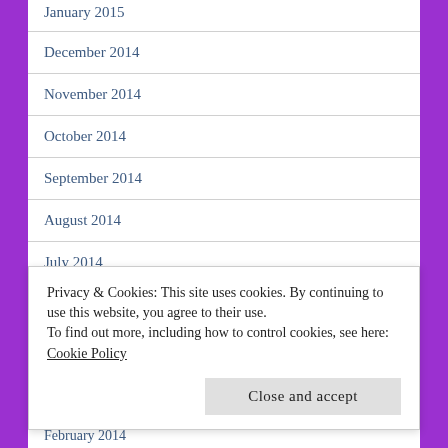January 2015
December 2014
November 2014
October 2014
September 2014
August 2014
July 2014
June 2014
Privacy & Cookies: This site uses cookies. By continuing to use this website, you agree to their use.
To find out more, including how to control cookies, see here:
Cookie Policy
Close and accept
February 2014